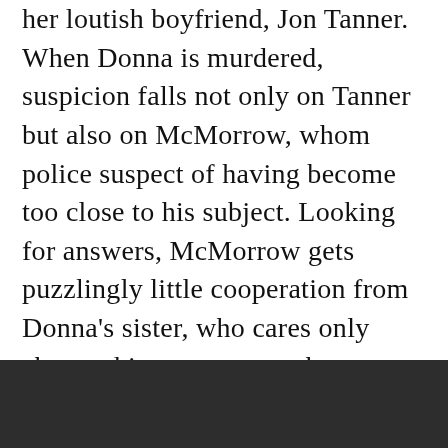her loutish boyfriend, Jon Tanner. When Donna is murdered, suspicion falls not only on Tanner but also on McMorrow, whom police suspect of having become too close to his subject. Looking for answers, McMorrow gets puzzlingly little cooperation from Donna's sister, who cares only about taking over as mother to Donna's little daughter, Adrianna. Then some local toughs, perhaps Tanner and his friends, rough up the reporter and torch his home. During his investigation, McMorrow is dealing with the absence of his true love, Roxanne Masterson, who is offered a new job in Portland. Boyle, a Maine newspaper writer himself, makes McMorrow a credible crusader, equally comfortable in the quiet woods and small towns... The narrative moves... l